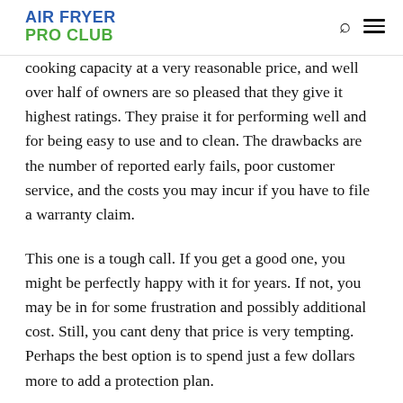AIR FRYER PRO CLUB
cooking capacity at a very reasonable price, and well over half of owners are so pleased that they give it highest ratings. They praise it for performing well and for being easy to use and to clean. The drawbacks are the number of reported early fails, poor customer service, and the costs you may incur if you have to file a warranty claim.
This one is a tough call. If you get a good one, you might be perfectly happy with it for years. If not, you may be in for some frustration and possibly additional cost. Still, you cant deny that price is very tempting. Perhaps the best option is to spend just a few dollars more to add a protection plan.